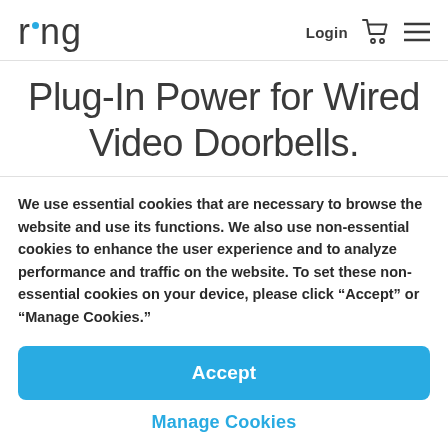ring Login [cart] [menu]
Plug-In Power for Wired Video Doorbells.
We use essential cookies that are necessary to browse the website and use its functions. We also use non-essential cookies to enhance the user experience and to analyze performance and traffic on the website. To set these non-essential cookies on your device, please click “Accept” or “Manage Cookies.”
Accept
Manage Cookies